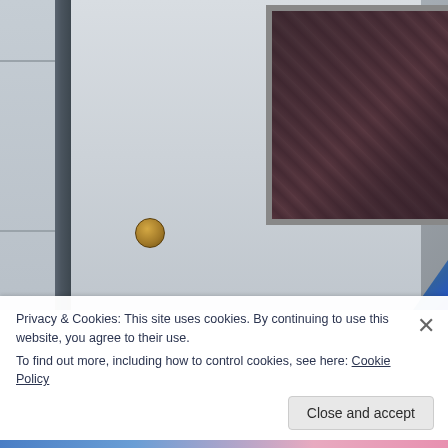[Figure (photo): Close-up photograph of a white residential door with a brass doorknob, dark gray door frame edge on the left, a window with dark patterned curtain visible in the upper right portion of the door, and what appears to be blue clothing/sleeve visible at bottom right. Light-colored siding is visible on the far left.]
Privacy & Cookies: This site uses cookies. By continuing to use this website, you agree to their use.
To find out more, including how to control cookies, see here: Cookie Policy